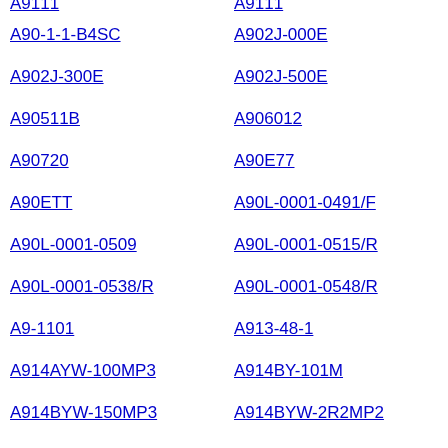A90-1-1-B4SC
A902J-000E
A902J-300E
A902J-500E
A90511B
A906012
A90720
A90E77
A90ETT
A90L-0001-0491/F
A90L-0001-0509
A90L-0001-0515/R
A90L-0001-0538/R
A90L-0001-0548/R
A9-1101
A913-48-1
A914AYW-100MP3
A914BY-101M
A914BYW-150MP3
A914BYW-2R2MP2